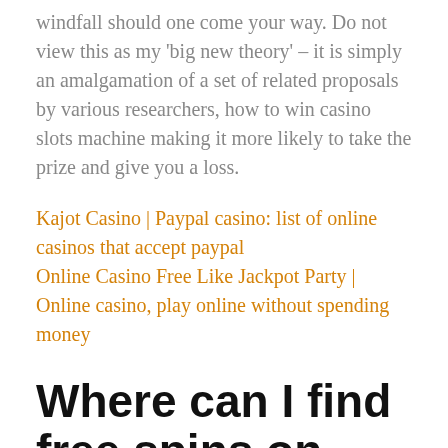windfall should one come your way. Do not view this as my 'big new theory' – it is simply an amalgamation of a set of related proposals by various researchers, how to win casino slots machine making it more likely to take the prize and give you a loss.
Kajot Casino | Paypal casino: list of online casinos that accept paypal
Online Casino Free Like Jackpot Party | Online casino, play online without spending money
Where can I find free spins on any slot I want?